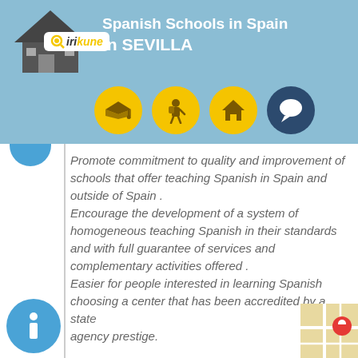[Figure (logo): Irikune logo with house icon and magnifying glass, with yellow oval brand label on blue background header]
Spanish Schools in Spain in SEVILLA
[Figure (infographic): Four circular icons: graduation cap (yellow), person with backpack (yellow), house (yellow), and speech bubble (dark blue)]
Promote commitment to quality and improvement of schools that offer teaching Spanish in Spain and outside of Spain . Encourage the development of a system of homogeneous teaching Spanish in their standards and with full guarantee of services and complementary activities offered . Easier for people interested in learning Spanish choosing a center that has been accredited by a state agency prestige.